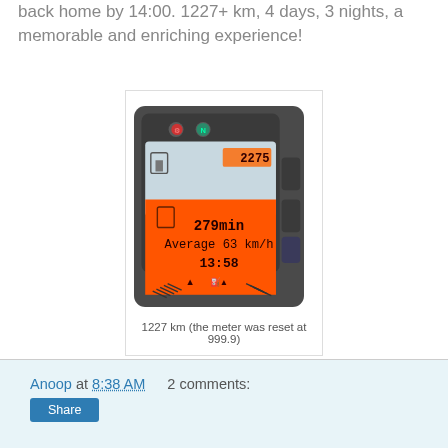back home by 14:00. 1227+ km, 4 days, 3 nights, a memorable and enriching experience!
[Figure (photo): Motorcycle instrument cluster showing orange backlit display with 279min, Average 63 km/h, time 13:58, and odometer reading 2275]
1227 km (the meter was reset at 999.9)
Anoop at 8:38 AM   2 comments: